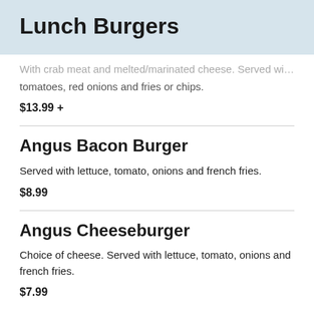Lunch Burgers
With crab meat and melted/marinated cheese. Served with lettuce, tomatoes, red onions and fries or chips.
$13.99 +
Angus Bacon Burger
Served with lettuce, tomato, onions and french fries.
$8.99
Angus Cheeseburger
Choice of cheese. Served with lettuce, tomato, onions and french fries.
$7.99